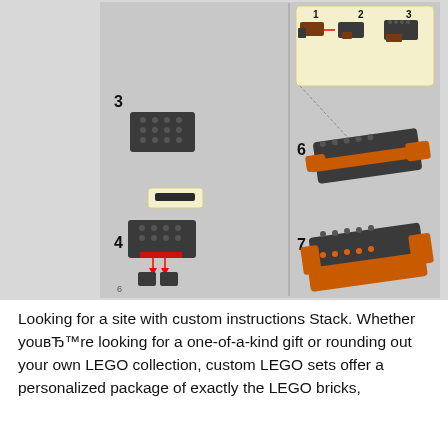[Figure (illustration): LEGO building instruction steps showing numbered assembly steps (1, 2, 3 in top-right highlight box; steps 3, 4, 6, 7 in main area) for a dark grey and orange LEGO vehicle/train model. Left panel shows individual brick steps 3 and 4 with red arrows. Right panel shows completed sub-assemblies labeled 6 and 7. Background is light grey with a small page number '6' at bottom left.]
Looking for a site with custom instructions Stack. Whether youвЂ™re looking for a one-of-a-kind gift or rounding out your own LEGO collection, custom LEGO sets offer a personalized package of exactly the LEGO bricks,